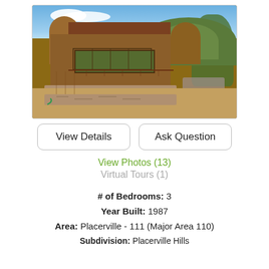[Figure (photo): Exterior photo of a unique wooden house with cylindrical towers and large windows, set against a hillside with trees and blue sky. Stone landscaping and patio furniture visible in foreground.]
View Details
Ask Question
View Photos (13)
Virtual Tours (1)
# of Bedrooms: 3
Year Built: 1987
Area: Placerville - 111 (Major Area 110)
Subdivision: Placerville Hills